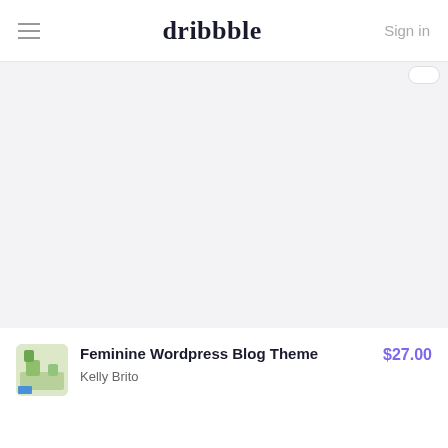dribbble  Sign in
[Figure (screenshot): Light gray empty preview area for a Dribbble shot, with a small pill-shaped badge in the top right corner]
Feminine Wordpress Blog Theme
Kelly Brito
$27.00